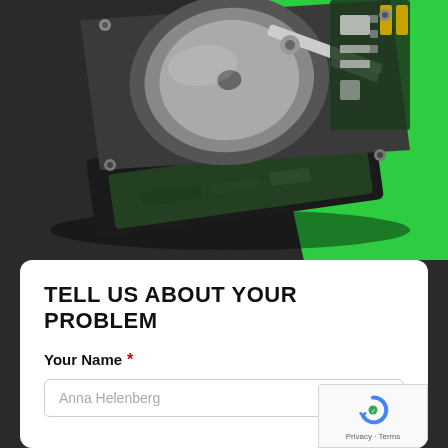[Figure (photo): Close-up photo of an open hard disk drive (HDD) showing internal components — platters, read/write arm, and circuit board. The drive is set against a dark gray background with a bright green geometric block in the upper-right corner.]
TELL US ABOUT YOUR PROBLEM
Your Name *
Anna Helenberg